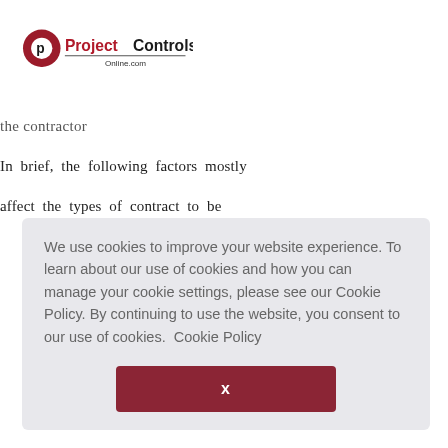ProjectControls Online.com
the contractor
In  brief,  the  following  factors  mostly
affect  the  types  of  contract  to  be
We use cookies to improve your website experience. To learn about our use of cookies and how you can manage your cookie settings, please see our Cookie Policy. By continuing to use the website, you consent to our use of cookies.  Cookie Policy